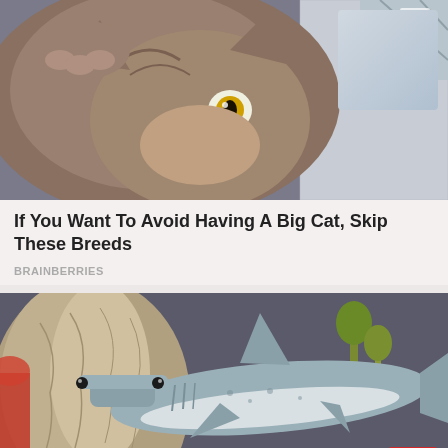[Figure (photo): Close-up photo of a tabby cat looking down from above, paws extended, with a light blue and grey tile background]
If You Want To Avoid Having A Big Cat, Skip These Breeds
BRAINBERRIES
[Figure (photo): Photo of a hammerhead shark figurine/toy posed in front of a driftwood aquarium decoration with sandy substrate and plants in the background]
8 Giant Prehistoric Beasts And How They Lived